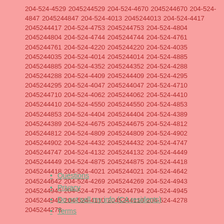204-524-4529 2045244529 204-524-4670 2045244670 204-524-4847 2045244847 204-524-4013 2045244013 204-524-4417 2045244417 204-524-4753 2045244753 204-524-4804 2045244804 204-524-4744 2045244744 204-524-4761 2045244761 204-524-4220 2045244220 204-524-4035 2045244035 204-524-4014 2045244014 204-524-4885 2045244885 204-524-4352 2045244352 204-524-4288 2045244288 204-524-4409 2045244409 204-524-4295 2045244295 204-524-4047 2045244047 204-524-4710 2045244710 204-524-4062 2045244062 204-524-4410 2045244410 204-524-4550 2045244550 204-524-4853 2045244853 204-524-4404 2045244404 204-524-4389 2045244389 204-524-4675 2045244675 204-524-4812 2045244812 204-524-4809 2045244809 204-524-4902 2045244902 204-524-4432 2045244432 204-524-4747 2045244747 204-524-4132 2045244132 204-524-4449 2045244449 204-524-4875 2045244875 204-524-4418 2045244418 204-524-4021 2045244021 204-524-4642 2045244642 204-524-4269 2045244269 204-524-4943 2045244943 204-524-4794 2045244794 204-524-4945 2045244945 204-524-4110 2045244110 204-524-4278 2045244278
Questions
Privacy
Do not sell my info (CA residents)
Terms